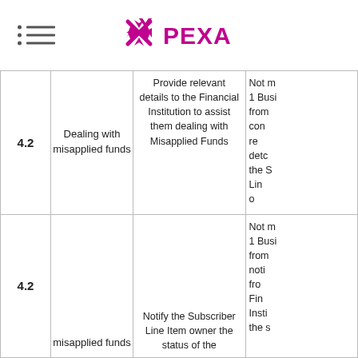PEXA
|  |  | Provide relevant details to the Financial Institution to assist them dealing with Misapplied Funds | Not more than 1 Business Day from confirmation received detailing the Subscriber Line Item owner |
| --- | --- | --- | --- |
| 4.2 | Dealing with misapplied funds | Provide relevant details to the Financial Institution to assist them dealing with Misapplied Funds | Not more than 1 Business Day from confirmation received detailing the Subscriber Line Item owner |
| 4.2 | misapplied funds | Notify the Subscriber Line Item owner the status of the | Not more than 1 Business Day from notification from Financial Institution the s |